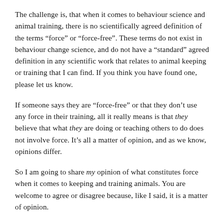The challenge is, that when it comes to behaviour science and animal training, there is no scientifically agreed definition of the terms “force” or “force-free”. These terms do not exist in behaviour change science, and do not have a “standard” agreed definition in any scientific work that relates to animal keeping or training that I can find. If you think you have found one, please let us know.
If someone says they are “force-free” or that they don’t use any force in their training, all it really means is that they believe that what they are doing or teaching others to do does not involve force. It’s all a matter of opinion, and as we know, opinions differ.
So I am going to share my opinion of what constitutes force when it comes to keeping and training animals. You are welcome to agree or disagree because, like I said, it is a matter of opinion.